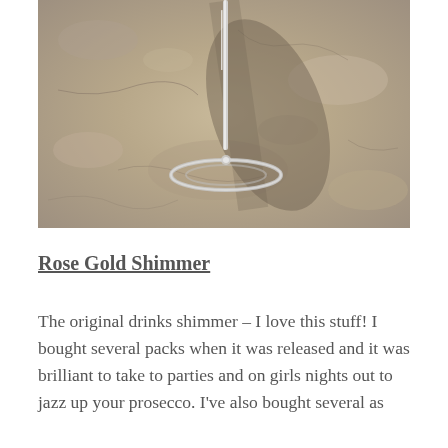[Figure (photo): Close-up photograph of the base and stem of a clear wine glass resting on a sandy stone/concrete surface, with a shadow cast behind the glass.]
Rose Gold Shimmer
The original drinks shimmer – I love this stuff! I bought several packs when it was released and it was brilliant to take to parties and on girls nights out to jazz up your prosecco. I've also bought several as